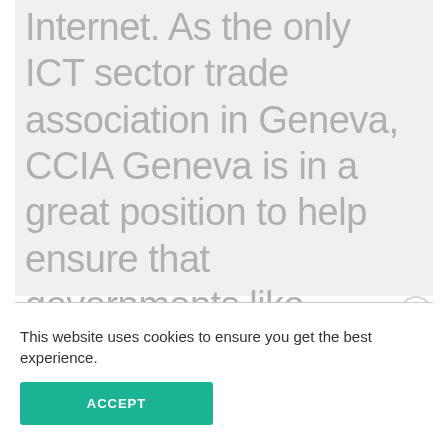Internet.  As the only ICT sector trade association in Geneva, CCIA Geneva is in a great position to help ensure that governments like China, Russia, South Africa, and India which use these processes to push for an Internet...
This website uses cookies to ensure you get the best experience.
ACCEPT